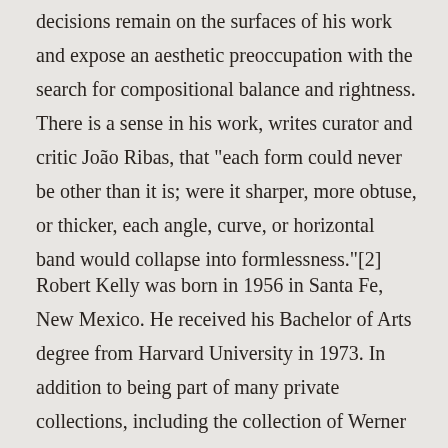decisions remain on the surfaces of his work and expose an aesthetic preoccupation with the search for compositional balance and rightness. There is a sense in his work, writes curator and critic João Ribas, that "each form could never be other than it is; were it sharper, more obtuse, or thicker, each angle, curve, or horizontal band would collapse into formlessness."[2]
Robert Kelly was born in 1956 in Santa Fe, New Mexico. He received his Bachelor of Arts degree from Harvard University in 1973. In addition to being part of many private collections, including the collection of Werner Kramarsky in New York, Kelly's work is also represented